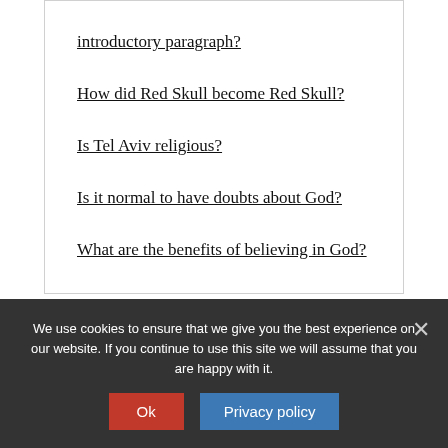introductory paragraph?
How did Red Skull become Red Skull?
Is Tel Aviv religious?
Is it normal to have doubts about God?
What are the benefits of believing in God?
[Figure (illustration): Large yellow double-quotation mark decorative element with partially visible italic text 'Pro Renowned']
We use cookies to ensure that we give you the best experience on our website. If you continue to use this site we will assume that you are happy with it.
Ok
Privacy policy